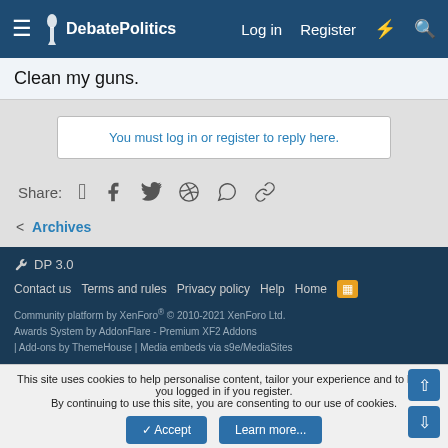DebatePolitics — Log in  Register
Clean my guns.
You must log in or register to reply here.
Share:
Archives
DP 3.0  Contact us  Terms and rules  Privacy policy  Help  Home  Community platform by XenForo® © 2010-2021 XenForo Ltd.  Awards System by AddonFlare - Premium XF2 Addons | Add-ons by ThemeHouse | Media embeds via s9e/MediaSites
This site uses cookies to help personalise content, tailor your experience and to keep you logged in if you register. By continuing to use this site, you are consenting to our use of cookies.